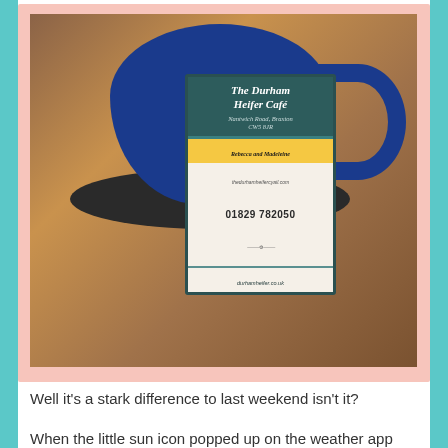[Figure (photo): A blue ceramic coffee mug on a dark saucer on a wooden table, with a business card for 'The Durham Heifer Café' leaning against the mug. The business card shows the address 'Nantwich Road, Braxton CW5 8JR', names 'Rebecca and Madeleine', phone number '01829 782050', and website 'durhamheifer.co.uk'.]
Well it's a stark difference to last weekend isn't it?
When the little sun icon popped up on the weather app on...